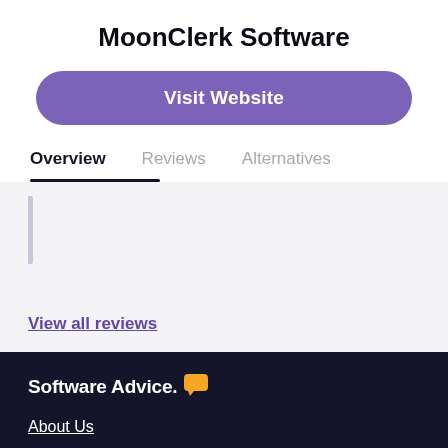MoonClerk Software
Visit Website
Overview  Reviews  Alternatives
View all reviews
[Figure (logo): Software Advice logo with orange chat bubble icon]
About Us
Careers